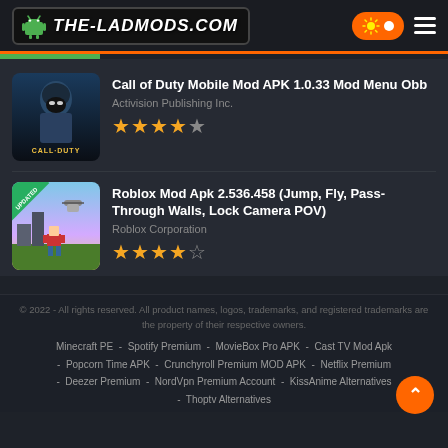THE-LADMODS.COM
Call of Duty Mobile Mod APK 1.0.33 Mod Menu Obb
Activision Publishing Inc.
★★★★½
Roblox Mod Apk 2.536.458 (Jump, Fly, Pass-Through Walls, Lock Camera POV)
Roblox Corporation
★★★★½
© 2022 - All rights reserved. All product names, logos, trademarks, and registered trademarks are the property of their respective owners.
Minecraft PE - Spotify Premium - MovieBox Pro APK - Cast TV Mod Apk - Popcorn Time APK - Crunchyroll Premium MOD APK - Netflix Premium - Deezer Premium - NordVpn Premium Account - KissAnime Alternatives - Thoptv Alternatives